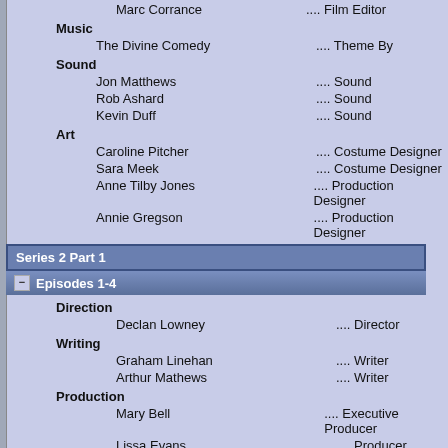Marc Corrance .... Film Editor
Music
The Divine Comedy .... Theme By
Sound
Jon Matthews .... Sound
Rob Ashard .... Sound
Kevin Duff .... Sound
Art
Caroline Pitcher .... Costume Designer
Sara Meek .... Costume Designer
Anne Tilby Jones .... Production Designer
Annie Gregson .... Production Designer
Series 2 Part 1
Episodes 1-4
Direction
Declan Lowney .... Director
Writing
Graham Linehan .... Writer
Arthur Mathews .... Writer
Production
Mary Bell .... Executive Producer
Lissa Evans .... Producer
Cinematography
Eugene O'Connor .... Cinematographer
Film Editing
Mykola Pawluk .... Film Editor
Tim Waddell .... Film Editor